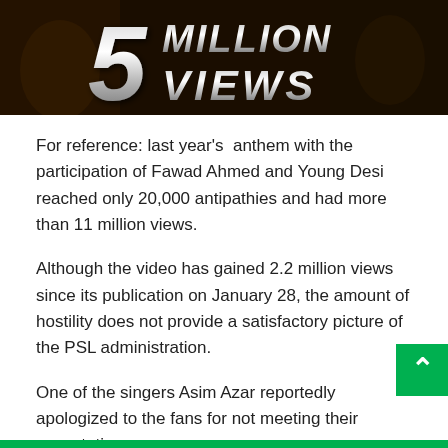[Figure (photo): Video thumbnail showing '5 MILLION VIEWS' text in large metallic silver italic lettering against a dark background with people visible in the background]
For reference: last year's  anthem with the participation of Fawad Ahmed and Young Desi reached only 20,000 antipathies and had more than 11 million views.
Although the video has gained 2.2 million views since its publication on January 28, the amount of hostility does not provide a satisfactory picture of the PSL administration.
One of the singers Asim Azar reportedly apologized to the fans for not meeting their expectations.
In a long post on Twitter, the singer also thanked those who liked the anthem.